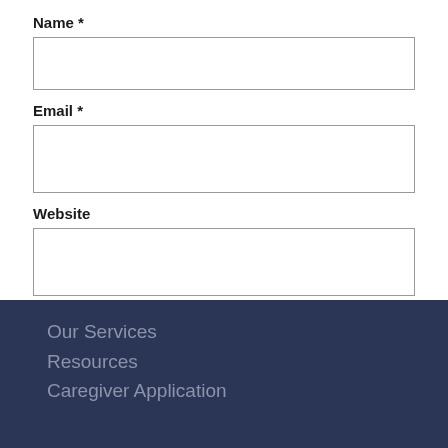Name *
Email *
Website
Post Comment
Our Services
Resources
Caregiver Application